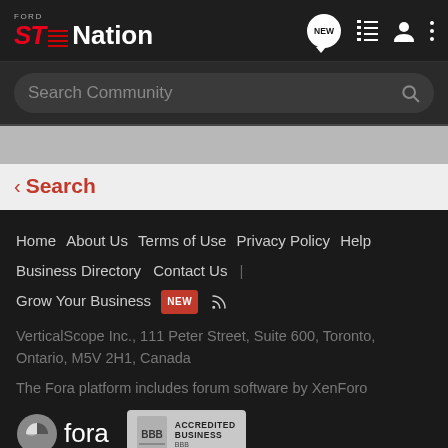Ford ST Nation
Search Community
Search
Home   About Us   Terms of Use   Privacy Policy   Help   Business Directory   Contact Us   |   Grow Your Business  NEW
VerticalScope Inc., 111 Peter Street, Suite 600, Toronto, Ontario, M5V 2H1, Canada
The Fora platform includes forum software by XenForo
[Figure (logo): Fora logo with circular icon and BBB Accredited Business badge]